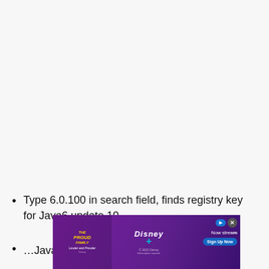Type 6.0.100 in search field, finds registry key for Java6 update 10
…Java6 …
[Figure (other): Disney+ advertisement banner showing The Proud Family animated show with 'Now streaming' and 'Sign Up Now' button, with close button]